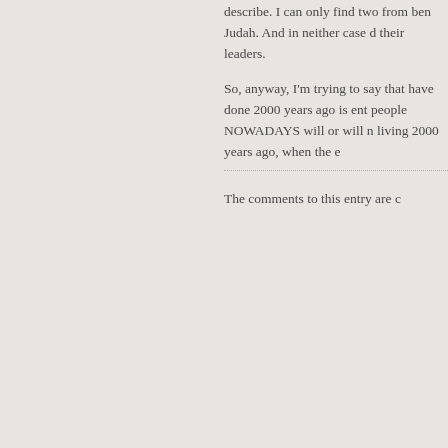describe. I can only find two from ben Judah. And in neither case d their leaders.
So, anyway, I'm trying to say that have done 2000 years ago is ent people NOWADAYS will or will n living 2000 years ago, when the e
The comments to this entry are c